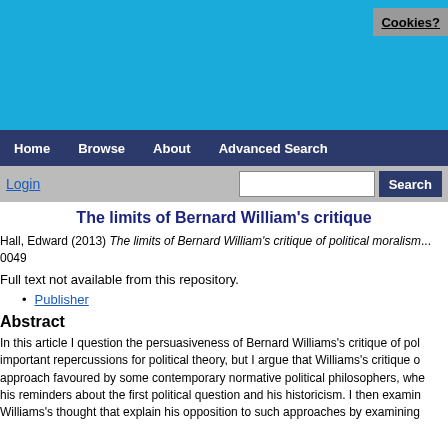[Figure (screenshot): Blue header banner with website logo and Cookies? button]
Home  Browse  About  Advanced Search
Login  [search box]  Search
The limits of Bernard William's critique
Hall, Edward (2013) The limits of Bernard William's critique of political moralism... 0049
Full text not available from this repository.
Publisher
Abstract
In this article I question the persuasiveness of Bernard Williams's critique of pol... important repercussions for political theory, but I argue that Williams's critique o... approach favoured by some contemporary normative political philosophers, whe... his reminders about the first political question and his historicism. I then examin... Williams's thought that explain his opposition to such approaches by examining